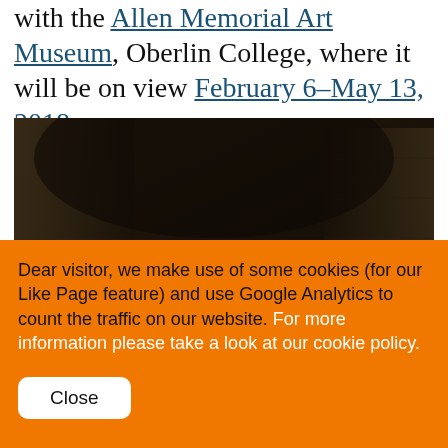with the Allen Memorial Art Museum, Oberlin College, where it will be on view February 6–May 13, 2018.
[Figure (photo): Dark, sepia-toned artwork photograph showing a dimly lit scene with figures in the lower portion and large shadowy architectural forms.]
Dear visitor, we make use of some cookies (for our Like Page feature) and use Google Analytics to count the traffic on our website. For more information please take a look at our cookie policy.
Close